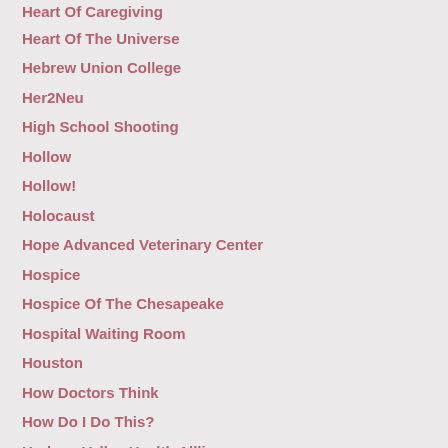Heart Of The Universe
Hebrew Union College
Her2Neu
High School Shooting
Hollow
Hollow!
Holocaust
Hope Advanced Veterinary Center
Hospice
Hospice Of The Chesapeake
Hospital Waiting Room
Houston
How Doctors Think
How Do I Do This?
Hudson Valley Health Allliance
Huffington Post
Husband
Husbands And Breast Cancer
I AndThou